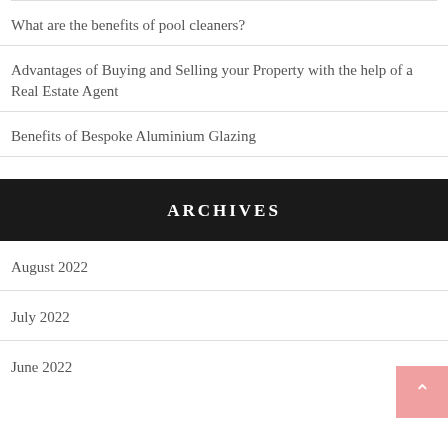What are the benefits of pool cleaners?
Advantages of Buying and Selling your Property with the help of a Real Estate Agent
Benefits of Bespoke Aluminium Glazing
ARCHIVES
August 2022
July 2022
June 2022